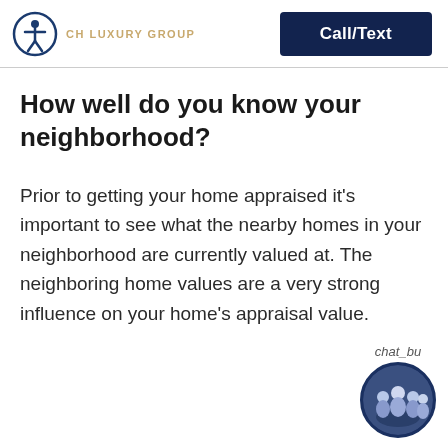CH LUXURY GROUP | Call/Text
How well do you know your neighborhood?
Prior to getting your home appraised it's important to see what the nearby homes in your neighborhood are currently valued at. The neighboring home values are a very strong influence on your home's appraisal value.
[Figure (photo): Chat button with group photo of real estate agents in a circular avatar, labeled 'chat_bu...']